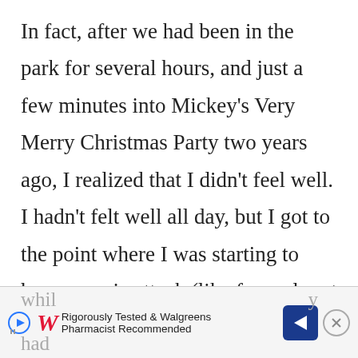In fact, after we had been in the park for several hours, and just a few minutes into Mickey's Very Merry Christmas Party two years ago, I realized that I didn't feel well. I hadn't felt well all day, but I got to the point where I was starting to have a panic attack (like for real, not just for emphasis here) because it was becoming more and more apparent to me that I really didn't feel well. I even thought for a moment
[Figure (other): Walgreens advertisement banner: 'Rigorously Tested & Walgreens Pharmacist Recommended' with Walgreens logo, play button, blue arrow icon, and close button. Partially obscured text behind ad reads 'whil...y' and 'had...']